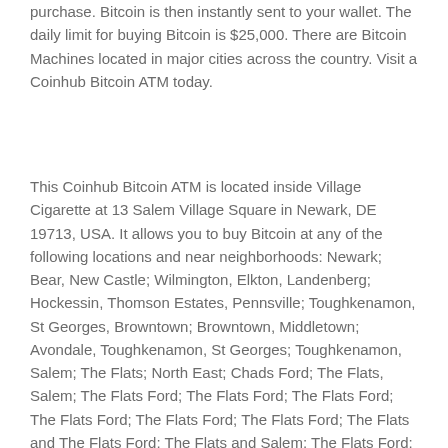purchase. Bitcoin is then instantly sent to your wallet. The daily limit for buying Bitcoin is $25,000. There are Bitcoin Machines located in major cities across the country. Visit a Coinhub Bitcoin ATM today.
This Coinhub Bitcoin ATM is located inside Village Cigarette at 13 Salem Village Square in Newark, DE 19713, USA. It allows you to buy Bitcoin at any of the following locations and near neighborhoods: Newark; Bear, New Castle; Wilmington, Elkton, Landenberg; Hockessin, Thomson Estates, Pennsville; Toughkenamon, St Georges, Browntown; Browntown, Middletown; Avondale, Toughkenamon, St Georges; Toughkenamon, Salem; The Flats; North East; Chads Ford; The Flats, Salem; The Flats Ford; The Flats Ford; The Flats Ford; The Flats Ford; The Flats Ford; The Flats Ford; The Flats and The Flats Ford; The Flats and Salem; The Flats Ford; The Flats Ford; The Flats Ford;